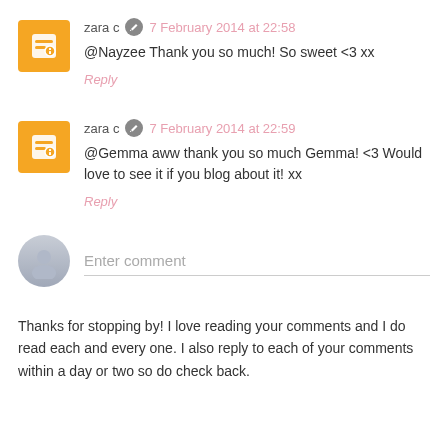zara c  7 February 2014 at 22:58
@Nayzee Thank you so much! So sweet <3 xx
Reply
zara c  7 February 2014 at 22:59
@Gemma aww thank you so much Gemma! <3 Would love to see it if you blog about it! xx
Reply
Enter comment
Thanks for stopping by! I love reading your comments and I do read each and every one. I also reply to each of your comments within a day or two so do check back.